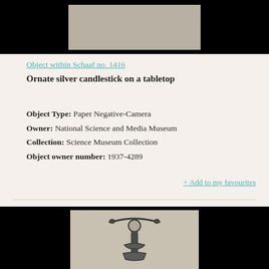[Figure (photo): Top portion of a black-framed photograph showing a light-colored paper negative of a candlestick]
Object within Schaaf no. 1416
Ornate silver candlestick on a tabletop
Object Type: Paper Negative-Camera
Owner: National Science and Media Museum
Collection: Science Museum Collection
Object owner number: 1937-4289
+ Add to my favourites
[Figure (photo): Black-framed photograph showing a paper negative image of an ornate silver candlestick viewed from above/front, showing decorative arms and stem]